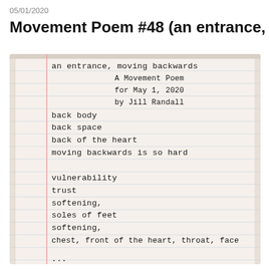05/01/2020
Movement Poem #48 (an entrance, moving bac
[Figure (photo): A photograph of a handwritten poem in a lined notebook. The poem is titled 'an entrance, moving backwards / A Movement Poem / for May 1, 2020 / by Jill Randall'. The poem continues: 'back body / back space / back of the heart / moving backwards is so hard / / vulnerability / trust / softening, / soles of feet / softening, / chest, front of the heart, throat, face' with partial text at bottom cut off.]